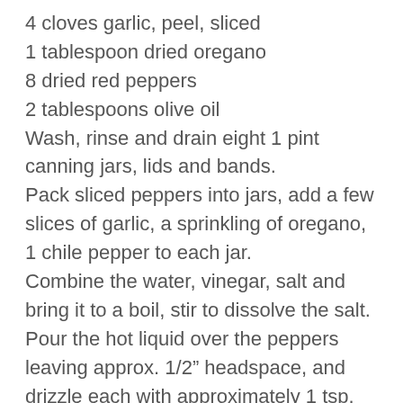4 cloves garlic, peel, sliced
1 tablespoon dried oregano
8 dried red peppers
2 tablespoons olive oil
Wash, rinse and drain eight 1 pint canning jars, lids and bands.
Pack sliced peppers into jars, add a few slices of garlic, a sprinkling of oregano, 1 chile pepper to each jar.
Combine the water, vinegar, salt and bring it to a boil, stir to dissolve the salt. Pour the hot liquid over the peppers leaving approx. 1/2” headspace, and drizzle each with approximately 1 tsp. olive oil.
Top with lids and bands and process jars in boiling water bath for 20 minutes, or according to manufacturers directions. Remove from heat and let stand uncovered for 5 minutes, remove to baking